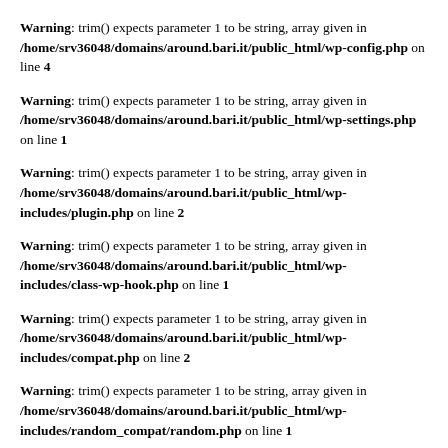Warning: trim() expects parameter 1 to be string, array given in /home/srv36048/domains/around.bari.it/public_html/wp-config.php on line 4
Warning: trim() expects parameter 1 to be string, array given in /home/srv36048/domains/around.bari.it/public_html/wp-settings.php on line 1
Warning: trim() expects parameter 1 to be string, array given in /home/srv36048/domains/around.bari.it/public_html/wp-includes/plugin.php on line 2
Warning: trim() expects parameter 1 to be string, array given in /home/srv36048/domains/around.bari.it/public_html/wp-includes/class-wp-hook.php on line 1
Warning: trim() expects parameter 1 to be string, array given in /home/srv36048/domains/around.bari.it/public_html/wp-includes/compat.php on line 2
Warning: trim() expects parameter 1 to be string, array given in /home/srv36048/domains/around.bari.it/public_html/wp-includes/random_compat/random.php on line 1